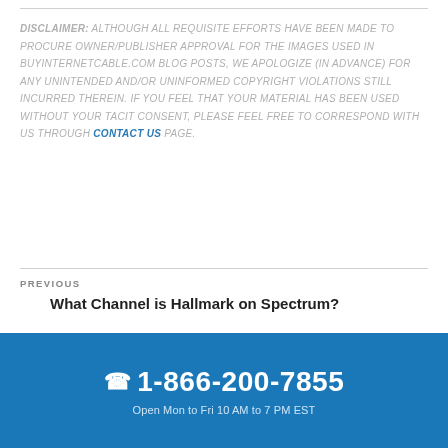DISCLAIMER: ALTHOUGH ALL REQUISITE EFFORTS HAVE BEEN MADE TO PROCURE OWNER/PUBLISHER APPROVAL FOR THE IMAGES USED IN BUYINTERNETCABLE.COM BLOG POSTS, WE APOLOGIZE (IN ADVANCE) FOR ANY UNINTENDED AND/OR UNINFORMED COPYRIGHT VIOLATIONS STILL INCURRED THEREIN. IF YOU FEEL THAT YOUR MATERIAL HAS BEEN USED WITHOUT YOUR TACIT CONSENT, PLEASE FEEL FREE TO CORRESPOND WITH US THROUGH CONTACT US PAGE.
PREVIOUS
What Channel is Hallmark on Spectrum?
NEXT
1-866-200-7855
Open Mon to Fri 10 AM to 7 PM EST